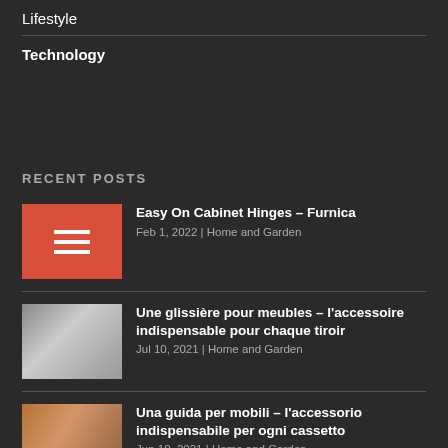Lifestyle
Technology
RECENT POSTS
Easy On Cabinet Hinges – Furnica
Feb 1, 2022 | Home and Garden
Une glissière pour meubles – l'accessoire indispensable pour chaque tiroir
Jul 10, 2021 | Home and Garden
Una guida per mobili – l'accessorio indispensabile per ogni cassetto
Jun 10, 2021 | Home and Garden